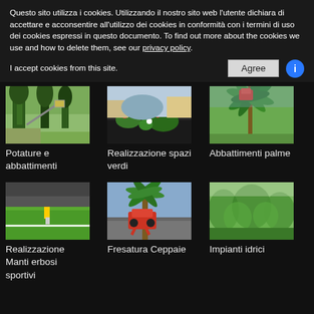Questo sito utilizza i cookies. Utilizzando il nostro sito web l'utente dichiara di accettare e acconsentire all'utilizzo dei cookies in conformità con i termini di uso dei cookies espressi in questo documento. To find out more about the cookies we use and how to delete them, see our privacy policy.
I accept cookies from this site.
[Figure (photo): Trees being trimmed with aerial equipment]
Potature e abbattimenti
[Figure (photo): Garden with flowers and dark gravel]
Realizzazione spazi verdi
[Figure (photo): Palm tree with worker at top]
Abbattimenti palme
[Figure (photo): Person marking lines on sports grass field]
Realizzazione Manti erbosi sportivi
[Figure (photo): Palm tree with red machinery attachment]
Fresatura Ceppaie
[Figure (photo): Green trees and shrubs landscape]
Impianti idrici